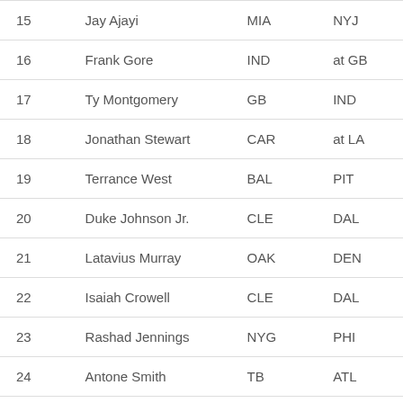| # | Name | Team | Opp |
| --- | --- | --- | --- |
| 15 | Jay Ajayi | MIA | NYJ |
| 16 | Frank Gore | IND | at GB |
| 17 | Ty Montgomery | GB | IND |
| 18 | Jonathan Stewart | CAR | at LA |
| 19 | Terrance West | BAL | PIT |
| 20 | Duke Johnson Jr. | CLE | DAL |
| 21 | Latavius Murray | OAK | DEN |
| 22 | Isaiah Crowell | CLE | DAL |
| 23 | Rashad Jennings | NYG | PHI |
| 24 | Antone Smith | TB | ATL |